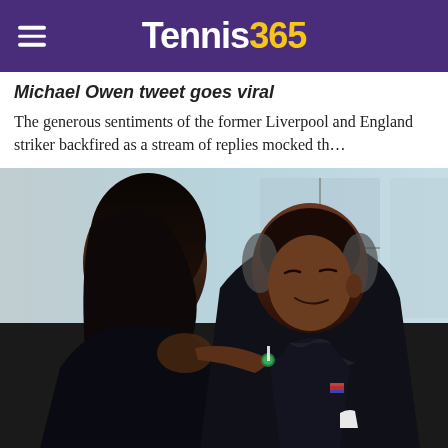Tennis365
Michael Owen tweet goes viral
The generous sentiments of the former Liverpool and England striker backfired as a stream of replies mocked th...
[Figure (photo): A couple in formal attire — a woman in a black dress adjusting a man's bow tie; the man is wearing a tuxedo with an American flag pin and smiling with eyes closed.]